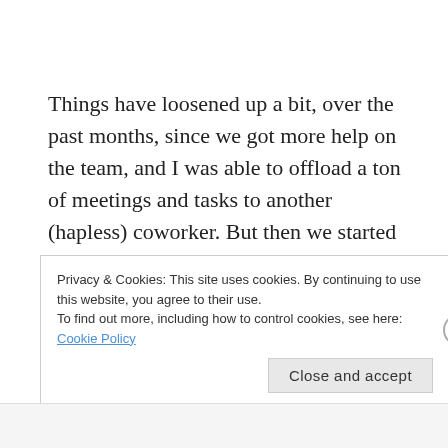Things have loosened up a bit, over the past months, since we got more help on the team, and I was able to offload a ton of meetings and tasks to another (hapless) coworker. But then we started remodeling our house, and the COVID-19 business kicked in. So, that was fun. We relocated to another place for a few months, while the house was worked on, which has been beautiful –
Privacy & Cookies: This site uses cookies. By continuing to use this website, you agree to their use.
To find out more, including how to control cookies, see here: Cookie Policy
Close and accept